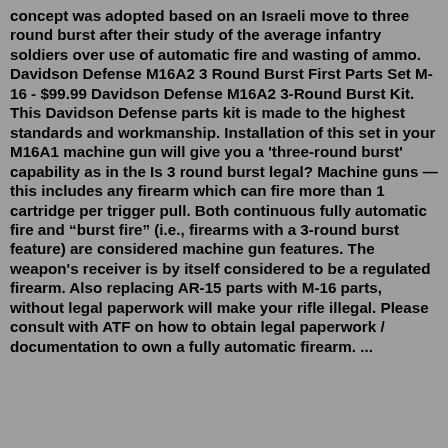concept was adopted based on an Israeli move to three round burst after their study of the average infantry soldiers over use of automatic fire and wasting of ammo. Davidson Defense M16A2 3 Round Burst First Parts Set M-16 - $99.99 Davidson Defense M16A2 3-Round Burst Kit. This Davidson Defense parts kit is made to the highest standards and workmanship. Installation of this set in your M16A1 machine gun will give you a 'three-round burst' capability as in the Is 3 round burst legal? Machine guns — this includes any firearm which can fire more than 1 cartridge per trigger pull. Both continuous fully automatic fire and "burst fire" (i.e., firearms with a 3-round burst feature) are considered machine gun features. The weapon's receiver is by itself considered to be a regulated firearm. Also replacing AR-15 parts with M-16 parts, without legal paperwork will make your rifle illegal. Please consult with ATF on how to obtain legal paperwork / documentation to own a fully automatic firearm. ... M16A2 3 round Burst ...